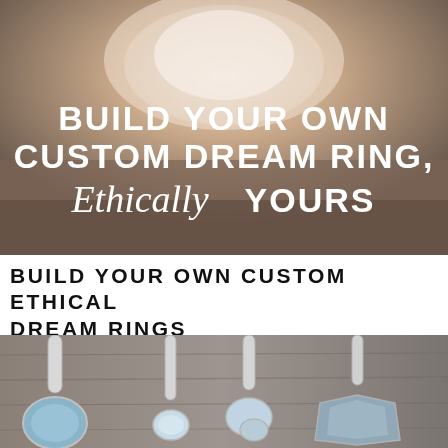[Figure (photo): Photo of a hand with rings on fingers, with white text overlay: 'BUILD YOUR OWN CUSTOM DREAM RING, Ethically YOURS']
BUILD YOUR OWN CUSTOM ETHICAL DREAM RINGS
[Figure (photo): Photo of multiple silver rings with gemstones arranged on a wooden surface, showing various stone sizes and settings]